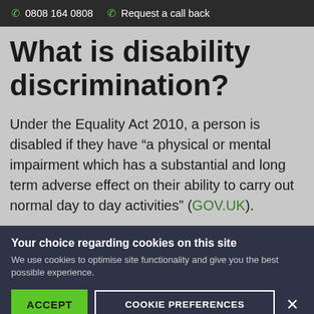0808 164 0808  Request a call back
What is disability discrimination?
Under the Equality Act 2010, a person is disabled if they have “a physical or mental impairment which has a substantial and long term adverse effect on their ability to carry out normal day to day activities” (GOV.UK).
Your choice regarding cookies on this site
We use cookies to optimise site functionality and give you the best possible experience.
ACCEPT  COOKIE PREFERENCES  ×